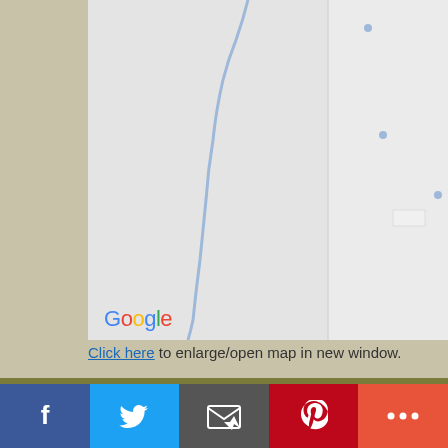[Figure (map): Google Maps screenshot showing a geographic area with roads and water features, with Google logo at bottom left]
Click here to enlarge/open map in new window.
Listing Office:
Northern Michigan Land Brokers - H
Listing Agent:
Gordon, Dale
[Figure (infographic): Social media sharing bar with Facebook, Twitter, Email, Pinterest, and More buttons]